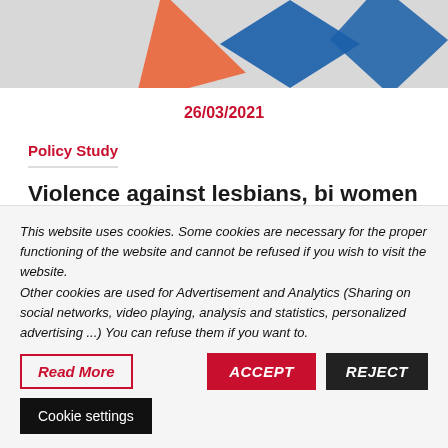[Figure (illustration): Colorful abstract geometric shapes (orange triangle, blue diamonds) on light gray background, partially cropped at top]
26/03/2021
Policy Study
Violence against lesbians, bi women and trans people: adapting the public response to the diversity of LGBTI+ life experiences
This website uses cookies. Some cookies are necessary for the proper functioning of the website and cannot be refused if you wish to visit the website.
Other cookies are used for Advertisement and Analytics (Sharing on social networks, video playing, analysis and statistics, personalized advertising ...) You can refuse them if you want to.
Read More
ACCEPT
REJECT
Cookie settings